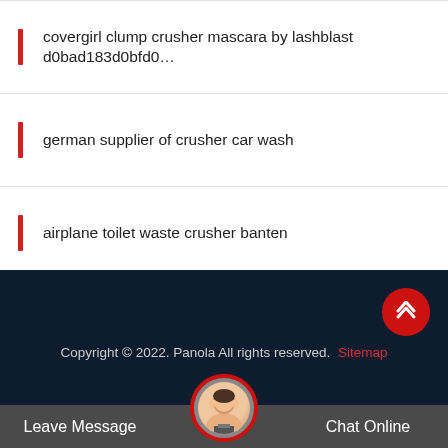covergirl clump crusher mascara by lashblast d0bad183d0bfd0…
german supplier of crusher car wash
airplane toilet waste crusher banten
tugas dan fungsi pekerja pada mesin crusher
Copyright © 2022. Panola All rights reserved. Sitemap
Leave Message
Chat Online